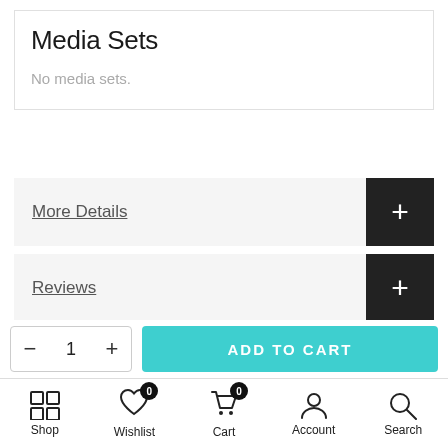Media Sets
No media sets.
More Details
Reviews
CSV
— 1 +
ADD TO CART
Shop  Wishlist  Cart  Account  Search